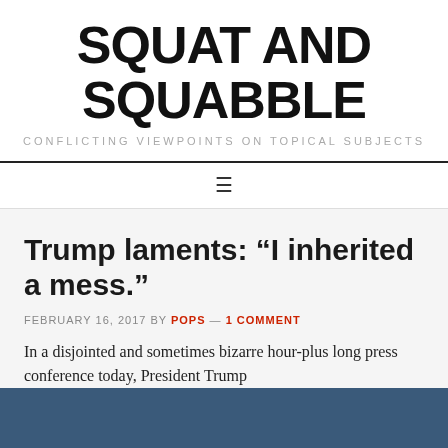SQUAT AND SQUABBLE
CONFLICTING VIEWPOINTS ON TOPICAL SUBJECTS
Trump laments: “I inherited a mess.”
FEBRUARY 16, 2017 BY POPS — 1 COMMENT
In a disjointed and sometimes bizarre hour-plus long press conference today, President Trump